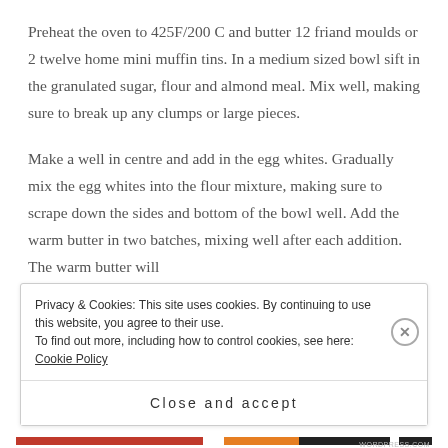Preheat the oven to 425F/200 C and butter 12 friand moulds or 2 twelve home mini muffin tins. In a medium sized bowl sift in the granulated sugar, flour and almond meal. Mix well, making sure to break up any clumps or large pieces.
Make a well in centre and add in the egg whites. Gradually mix the egg whites into the flour mixture, making sure to scrape down the sides and bottom of the bowl well. Add the warm butter in two batches, mixing well after each addition. The warm butter will
Privacy & Cookies: This site uses cookies. By continuing to use this website, you agree to their use.
To find out more, including how to control cookies, see here: Cookie Policy
Close and accept